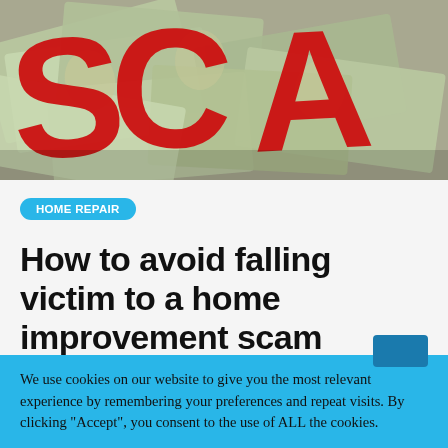[Figure (photo): Photo of red 3D letters spelling 'SCAM' placed on top of scattered US dollar bills, partially cropped at the top]
HOME REPAIR
How to avoid falling victim to a home improvement scam
By Wendi Banks   6 months ago
We use cookies on our website to give you the most relevant experience by remembering your preferences and repeat visits. By clicking "Accept", you consent to the use of ALL the cookies.